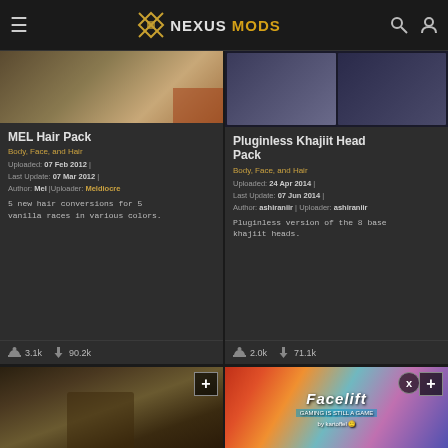NEXUSMODS
MEL Hair Pack
Body, Face, and Hair
Uploaded: 07 Feb 2012 | Last Update: 07 Mar 2012 | Author: Mel | Uploader: Meldiocre
5 new hair conversions for 5 vanilla races in various colors.
3.1k  90.2k
Pluginless Khajiit Head Pack
Body, Face, and Hair
Uploaded: 24 Apr 2014 | Last Update: 07 Jun 2014 | Author: ashiraniir | Uploader: ashiraniir
Pluginless version of the 8 base khajiit heads.
2.0k  71.1k
[Figure (screenshot): Bottom left mod thumbnail showing armored character in dark dungeon setting]
[Figure (screenshot): Facelift mod thumbnail showing face with colorful overlay and text 'Facelift by kartoffel']